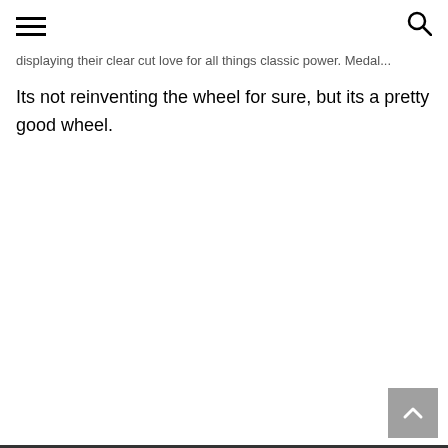[hamburger menu icon] [search icon]
displaying their clear cut love for all things classic power. Medal...
Its not reinventing the wheel for sure, but its a pretty good wheel.